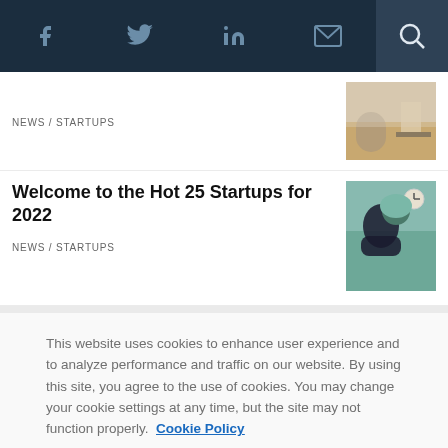Navigation bar with social icons: Facebook, Twitter, LinkedIn, Email, Search
NEWS / STARTUPS
[Figure (photo): Thumbnail photo of an office interior with a chair]
Welcome to the Hot 25 Startups for 2022
NEWS / STARTUPS
[Figure (photo): Thumbnail photo of a person working at a computer]
This website uses cookies to enhance user experience and to analyze performance and traffic on our website. By using this site, you agree to the use of cookies. You may change your cookie settings at any time, but the site may not function properly.  Cookie Policy
Close